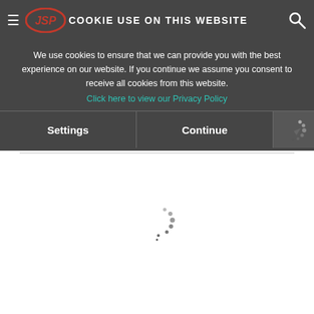COOKIE USE ON THIS WEBSITE
We use cookies to ensure that we can provide you with the best experience on our website. If you continue we assume you consent to receive all cookies from this website.
Click here to view our Privacy Policy
Settings
Continue
[Figure (other): Loading spinner dots arranged in a circular pattern on a white background]
Restraint Systems